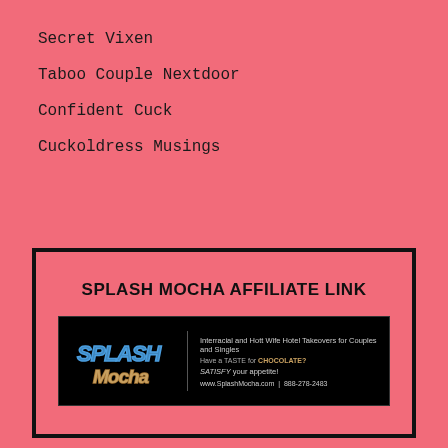Secret Vixen
Taboo Couple Nextdoor
Confident Cuck
Cuckoldress Musings
[Figure (infographic): Advertisement box with bold heading 'SPLASH MOCHA AFFILIATE LINK' and a dark banner showing the Splash Mocha logo with text: 'Interracial and Hott Wife Hotel Takeovers for Couples and Singles. Have a TASTE for CHOCOLATE? SATISFY your appetite! www.SplashMocha.com | 888-278-2483']